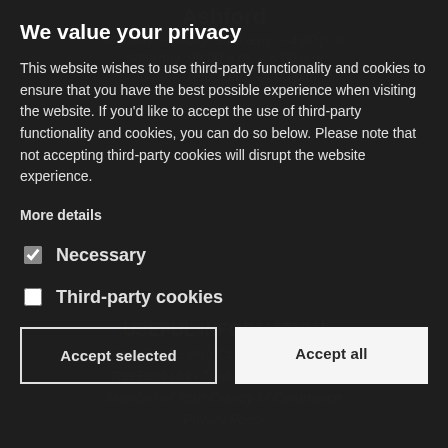Ashford
Monday – Friday, 9:00 a.m. – 4:00 p.m
Saturday, 09:00 a.m. – 5:00 p.m
Sunday, 10:00 a.m. – 4:00 p.m
We value your privacy
This website wishes to use third-party functionality and cookies to ensure that you have the best possible experience when visiting the website. If you'd like to accept the use of third-party functionality and cookies, you can do so below. Please note that not accepting third-party cookies will disrupt the website experience.
USEFUL INFORMATION
Proudly Serving Customers in Kent
More details
TreeBest Ltd - Trading as Star Cutter
Member of Your County of Commerce
Privacy Policy
Necessary
Third-party cookies
Accept selected
Accept all
©2022 Website designed and built by Realm Solutions